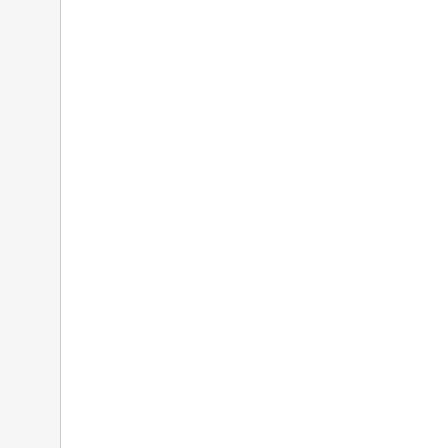1. Har... 2 dmg...
2. Ma... 4 dmg...
3. Des... (3 x 6...
Some... be CO... Just a... choice...
These... ADAP... to you... what h... you D...
Note #... probal... switch... these... If you... them.... variety...